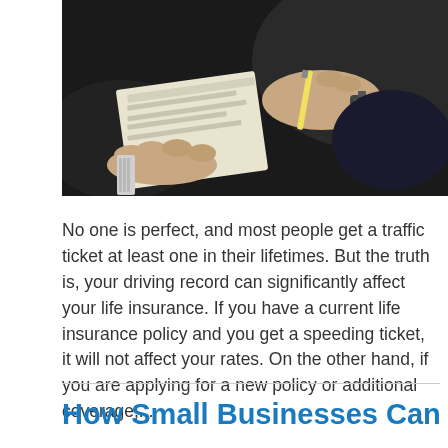[Figure (photo): Close-up photo of hands writing on a notepad or ticket book, person wearing a watch and dark uniform sleeve, dark background]
No one is perfect, and most people get a traffic ticket at least one in their lifetimes. But the truth is, your driving record can significantly affect your life insurance. If you have a current life insurance policy and you get a speeding ticket, it will not affect your rates. On the other hand, if you are applying for a new policy or additional coverage,...
How Small Businesses Can